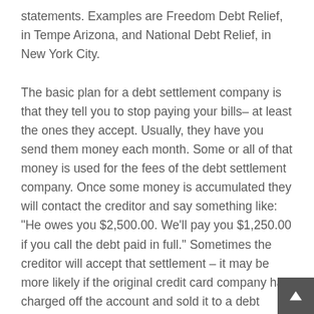statements. Examples are Freedom Debt Relief, in Tempe Arizona, and National Debt Relief, in New York City.

The basic plan for a debt settlement company is that they tell you to stop paying your bills– at least the ones they accept. Usually, they have you send them money each month. Some or all of that money is used for the fees of the debt settlement company. Once some money is accumulated they will contact the creditor and say something like: “He owes you $2,500.00. We’ll pay you $1,250.00 if you call the debt paid in full.” Sometimes the creditor will accept that settlement – it may be more likely if the original credit card company has charged off the account and sold it to a debt buyer because a debt buyer usually pays a fraction of the face amount of the debt. This is very common with credit card debts – the credit card company will “charge off” your account and sell it to, for example, LVNV or Portfolio Recovery for literally a few cents on the dollar